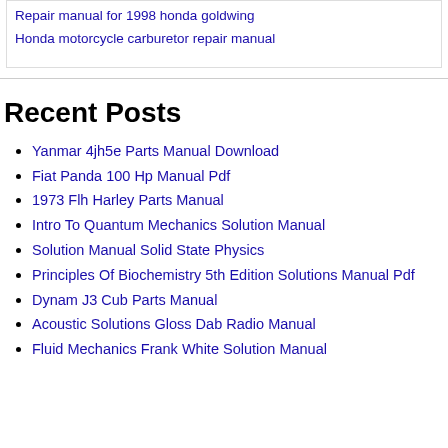Repair manual for 1998 honda goldwing
Honda motorcycle carburetor repair manual
Recent Posts
Yanmar 4jh5e Parts Manual Download
Fiat Panda 100 Hp Manual Pdf
1973 Flh Harley Parts Manual
Intro To Quantum Mechanics Solution Manual
Solution Manual Solid State Physics
Principles Of Biochemistry 5th Edition Solutions Manual Pdf
Dynam J3 Cub Parts Manual
Acoustic Solutions Gloss Dab Radio Manual
Fluid Mechanics Frank White Solution Manual